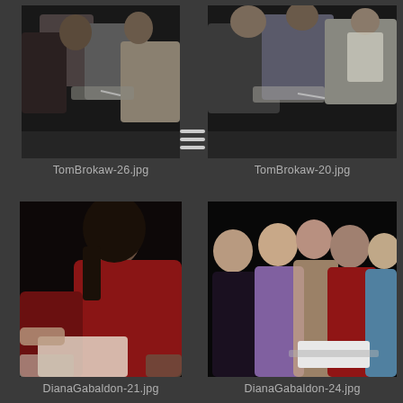[Figure (photo): Two people shaking hands at an event, black and white tones, indoor setting]
TomBrokaw-26.jpg
[Figure (photo): Two people shaking hands at an event, indoor setting, one holding papers]
TomBrokaw-20.jpg
[Figure (photo): Woman in red velvet outfit smiling, signing or handling items on a dark table]
DianaGabaldon-21.jpg
[Figure (photo): Group of five women posing together, smiling, one in red, indoor event]
DianaGabaldon-24.jpg